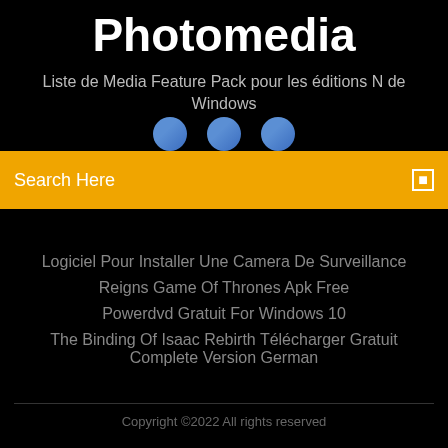Photomedia
Liste de Media Feature Pack pour les éditions N de Windows
[Figure (other): Three blue social media circle icons on a black background]
Search Here
Logiciel Pour Installer Une Camera De Surveillance
Reigns Game Of Thrones Apk Free
Powerdvd Gratuit For Windows 10
The Binding Of Isaac Rebirth Télécharger Gratuit Complete Version German
Copyright ©2022 All rights reserved